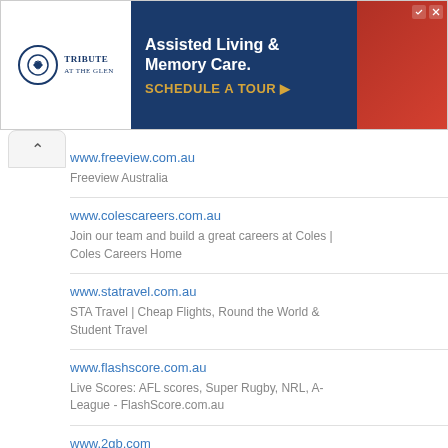[Figure (screenshot): Advertisement banner for Tribute at the Glen - Assisted Living & Memory Care with a Schedule a Tour call to action]
www.freeview.com.au
Freeview Australia
www.colescareers.com.au
Join our team and build a great careers at Coles | Coles Careers Home
www.statravel.com.au
STA Travel | Cheap Flights, Round the World & Student Travel
www.flashscore.com.au
Live Scores: AFL scores, Super Rugby, NRL, A-League - FlashScore.com.au
www.2gb.com
2GB | Sydney's premier news and talk radio station - news, talk, sport, entertainment